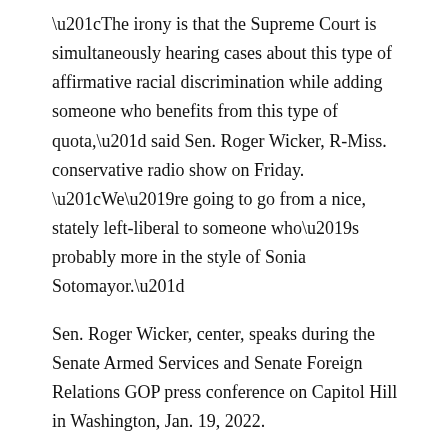“The irony is that the Supreme Court is simultaneously hearing cases about this type of affirmative racial discrimination while adding someone who benefits from this type of quota,” said Sen. Roger Wicker, R-Miss. conservative radio show on Friday. “We’re going to go from a nice, stately left-liberal to someone who’s probably more in the style of Sonia Sotomayor.”
Sen. Roger Wicker, center, speaks during the Senate Armed Services and Senate Foreign Relations GOP press conference on Capitol Hill in Washington, Jan. 19, 2022.
It is important to note, again, that Biden made no choice and that Wicker’s assumptions, which many consider offensive, are based solely on the notion that Biden’s choice is a black woman.
On ABC’s This Week, Senator Susan Collins, R-Maine, indicated she was ready to support a black woman, but criticized Biden’s announcement. She said her public statement added to the